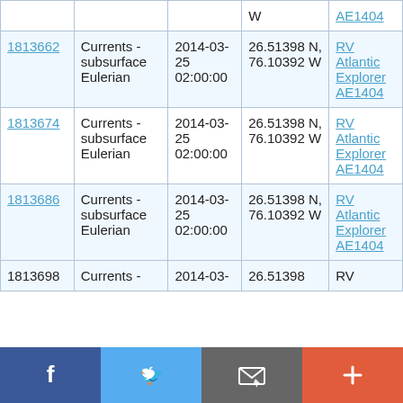| ID | Type | Date | Location | Ship |
| --- | --- | --- | --- | --- |
|  |  |  | W | AE1404 |
| 1813662 | Currents - subsurface Eulerian | 2014-03-25 02:00:00 | 26.51398 N, 76.10392 W | RV Atlantic Explorer AE1404 |
| 1813674 | Currents - subsurface Eulerian | 2014-03-25 02:00:00 | 26.51398 N, 76.10392 W | RV Atlantic Explorer AE1404 |
| 1813686 | Currents - subsurface Eulerian | 2014-03-25 02:00:00 | 26.51398 N, 76.10392 W | RV Atlantic Explorer AE1404 |
| 1813698 | Currents - | 2014-03- | 26.51398 | RV |
[Figure (other): Social media share bar with Facebook, Twitter, email, and plus buttons]